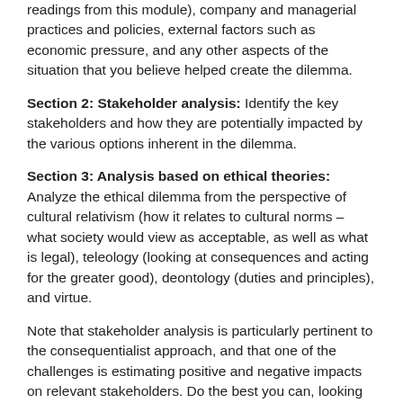readings from this module), company and managerial practices and policies, external factors such as economic pressure, and any other aspects of the situation that you believe helped create the dilemma.
Section 2: Stakeholder analysis: Identify the key stakeholders and how they are potentially impacted by the various options inherent in the dilemma.
Section 3: Analysis based on ethical theories: Analyze the ethical dilemma from the perspective of cultural relativism (how it relates to cultural norms – what society would view as acceptable, as well as what is legal), teleology (looking at consequences and acting for the greater good), deontology (duties and principles), and virtue.
Note that stakeholder analysis is particularly pertinent to the consequentialist approach, and that one of the challenges is estimating positive and negative impacts on relevant stakeholders. Do the best you can, looking at both